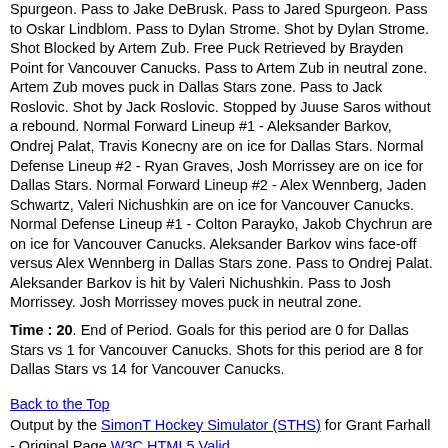Spurgeon. Pass to Jake DeBrusk. Pass to Jared Spurgeon. Pass to Oskar Lindblom. Pass to Dylan Strome. Shot by Dylan Strome. Shot Blocked by Artem Zub. Free Puck Retrieved by Brayden Point for Vancouver Canucks. Pass to Artem Zub in neutral zone. Artem Zub moves puck in Dallas Stars zone. Pass to Jack Roslovic. Shot by Jack Roslovic. Stopped by Juuse Saros without a rebound. Normal Forward Lineup #1 - Aleksander Barkov, Ondrej Palat, Travis Konecny are on ice for Dallas Stars. Normal Defense Lineup #2 - Ryan Graves, Josh Morrissey are on ice for Dallas Stars. Normal Forward Lineup #2 - Alex Wennberg, Jaden Schwartz, Valeri Nichushkin are on ice for Vancouver Canucks. Normal Defense Lineup #1 - Colton Parayko, Jakob Chychrun are on ice for Vancouver Canucks. Aleksander Barkov wins face-off versus Alex Wennberg in Dallas Stars zone. Pass to Ondrej Palat. Aleksander Barkov is hit by Valeri Nichushkin. Pass to Josh Morrissey. Josh Morrissey moves puck in neutral zone.
Time : 20. End of Period. Goals for this period are 0 for Dallas Stars vs 1 for Vancouver Canucks. Shots for this period are 8 for Dallas Stars vs 14 for Vancouver Canucks.
Back to the Top
Output by the SimonT Hockey Simulator (STHS) for Grant Farhall - Original Page W3C HTML5 Valid